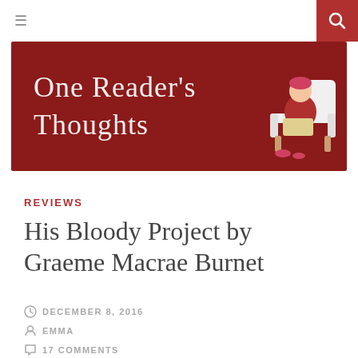≡  [search icon]
[Figure (logo): Blog banner with dark red background, cursive script text 'One Reader's Thoughts' in white/cream, and an illustration of a person reading in an armchair on the right side]
REVIEWS
His Bloody Project by Graeme Macrae Burnet
DECEMBER 8, 2016
EMMA
17 COMMENTS